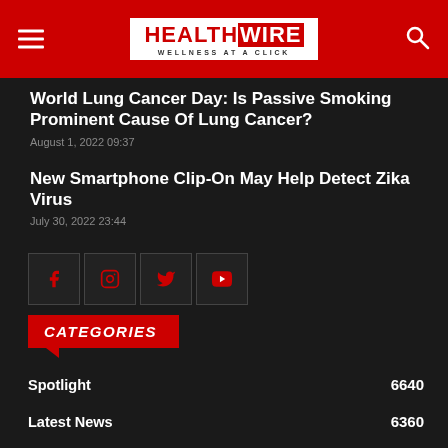HEALTHWIRE — WELLNESS AT A CLICK
World Lung Cancer Day: Is Passive Smoking Prominent Cause Of Lung Cancer?
August 1, 2022 09:37
New Smartphone Clip-On May Help Detect Zika Virus
July 30, 2022 23:44
CATEGORIES
Spotlight 6640
Latest News 6360
COVID 19 5630